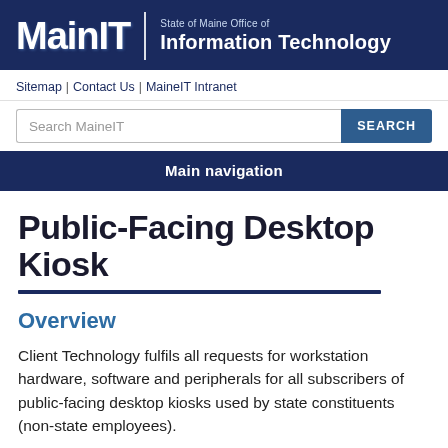MainIT | State of Maine Office of Information Technology
Sitemap | Contact Us | MaineIT Intranet
Search MaineIT
Main navigation
Public-Facing Desktop Kiosk
Overview
Client Technology fulfils all requests for workstation hardware, software and peripherals for all subscribers of public-facing desktop kiosks used by state constituents (non-state employees).